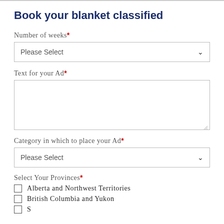Book your blanket classified
Number of weeks*
[Figure (screenshot): Dropdown select field labeled 'Please Select' with chevron]
Text for your Ad*
[Figure (screenshot): Text area input box, empty, with resize handle]
Category in which to place your Ad*
[Figure (screenshot): Dropdown select field labeled 'Please Select' with chevron]
Select Your Provinces*
Alberta and Northwest Territories
British Columbia and Yukon
S... (partially visible)